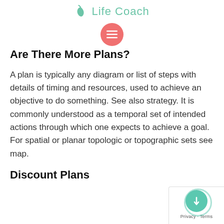Life Coach
Are There More Plans?
A plan is typically any diagram or list of steps with details of timing and resources, used to achieve an objective to do something. See also strategy. It is commonly understood as a temporal set of intended actions through which one expects to achieve a goal. For spatial or planar topologic or topographic sets see map.
Discount Plans